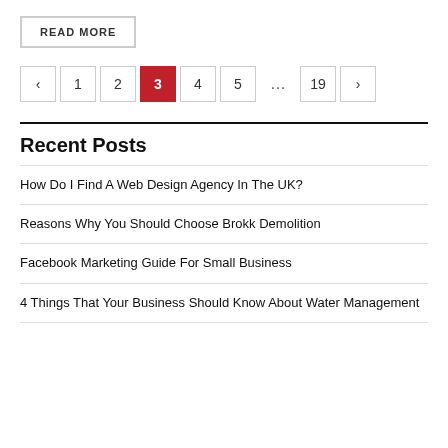READ MORE
< 1 2 3 4 5 ... 19 >
Recent Posts
How Do I Find A Web Design Agency In The UK?
Reasons Why You Should Choose Brokk Demolition
Facebook Marketing Guide For Small Business
4 Things That Your Business Should Know About Water Management